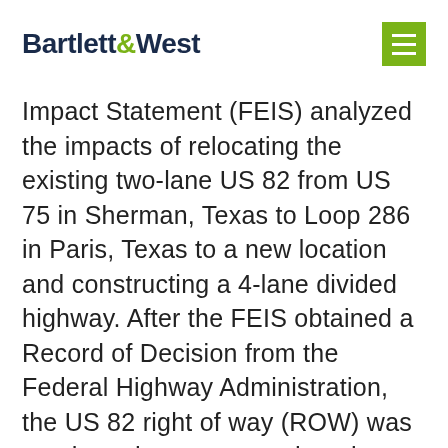Bartlett & West
Impact Statement (FEIS) analyzed the impacts of relocating the existing two-lane US 82 from US 75 in Sherman, Texas to Loop 286 in Paris, Texas to a new location and constructing a 4-lane divided highway. After the FEIS obtained a Record of Decision from the Federal Highway Administration, the US 82 right of way (ROW) was purchased to accommodate the four-lane divided highway. Project funding was constrained and an undivided two-lane